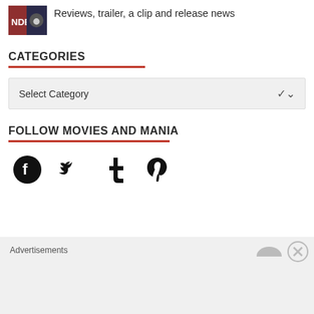[Figure (photo): Small movie thumbnail image showing a person in red against dark background with 'NDER' text visible]
Reviews, trailer, a clip and release news
CATEGORIES
Select Category
FOLLOW MOVIES AND MANIA
[Figure (infographic): Social media icons: Facebook, Twitter, Tumblr, Pinterest]
Advertisements